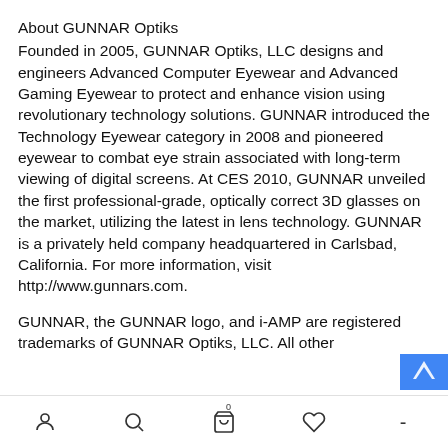About GUNNAR Optiks
Founded in 2005, GUNNAR Optiks, LLC designs and engineers Advanced Computer Eyewear and Advanced Gaming Eyewear to protect and enhance vision using revolutionary technology solutions. GUNNAR introduced the Technology Eyewear category in 2008 and pioneered eyewear to combat eye strain associated with long-term viewing of digital screens. At CES 2010, GUNNAR unveiled the first professional-grade, optically correct 3D glasses on the market, utilizing the latest in lens technology. GUNNAR is a privately held company headquartered in Carlsbad, California. For more information, visit http://www.gunnars.com.
GUNNAR, the GUNNAR logo, and i-AMP are registered trademarks of GUNNAR Optiks, LLC. All other